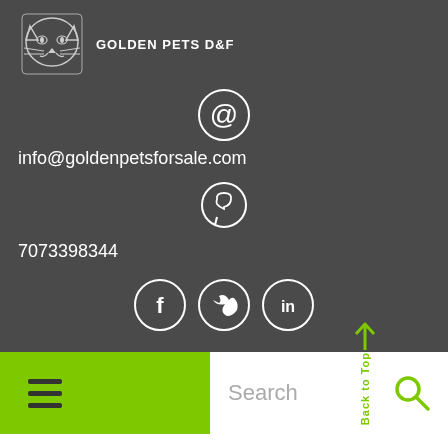[Figure (logo): Black panther/cat logo with text GOLDEN PETS D&F]
info@goldenpetsforsale.com
7073398344
[Figure (illustration): Navigation bar with green hamburger menu, search field, back to top arrow, and search icon]
Home Golden Pets
[Figure (photo): Green outdoor background image strip at bottom]